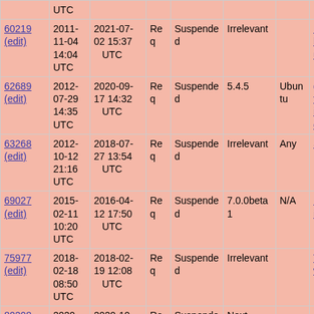| ID | Created | Modified | Type | Status | Version | OS | Summary |
| --- | --- | --- | --- | --- | --- | --- | --- |
|  | UTC |  |  |  |  |  |  |
| 60219 (edit) | 2011-11-04 14:04 UTC | 2021-07-02 15:37 UTC | Req | Suspended | Irrelevant |  | POST being_a unders... |
| 62689 (edit) | 2012-07-29 14:35 UTC | 2020-09-17 14:32 UTC | Req | Suspended | 5.4.5 | Ubuntu | get_ca functio is_call callabl... |
| 63268 (edit) | 2012-10-12 21:16 UTC | 2018-07-27 13:54 UTC | Req | Suspended | Irrelevant | Any | Scalar... |
| 69027 (edit) | 2015-02-11 10:20 UTC | 2016-04-12 17:50 UTC | Req | Suspended | 7.0.0beta1 | N/A | Backtr include... |
| 75977 (edit) | 2018-02-18 08:50 UTC | 2018-02-19 12:08 UTC | Req | Suspended | Irrelevant |  | Trim ir whites... |
| 80208 (edit) | 2020-10-09 11:15 UTC | 2020-10-09 12:01 UTC | Req | Suspended | Next Minor Version |  | Scalar (like It... |
| 80720 | 2021- | 2021-02- | Req | Suspended | 8.0.2 | Any | Class;... |